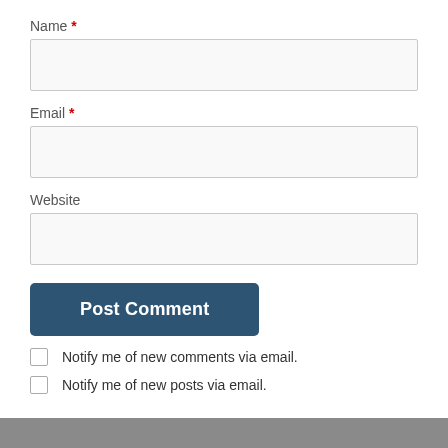Name *
[Figure (screenshot): Empty text input field for Name]
Email *
[Figure (screenshot): Empty text input field for Email]
Website
[Figure (screenshot): Empty text input field for Website]
Post Comment
Notify me of new comments via email.
Notify me of new posts via email.